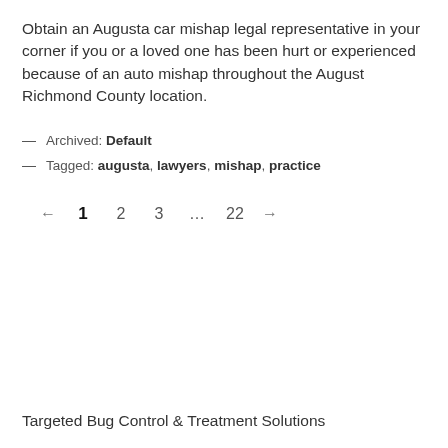Obtain an Augusta car mishap legal representative in your corner if you or a loved one has been hurt or experienced because of an auto mishap throughout the August Richmond County location.
— Archived: Default
— Tagged: augusta, lawyers, mishap, practice
← 1 2 3 … 22 →
Targeted Bug Control & Treatment Solutions